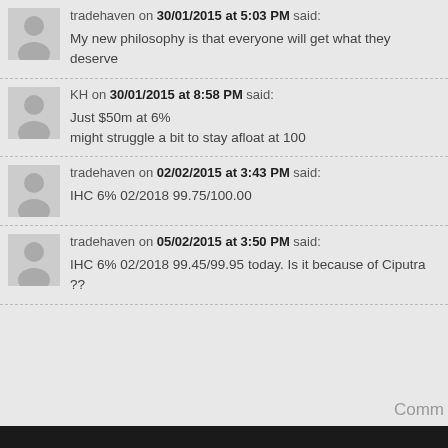tradehaven on 30/01/2015 at 5:03 PM said: My new philosophy is that everyone will get what they deserve
KH on 30/01/2015 at 8:58 PM said: Just $50m at 6% might struggle a bit to stay afloat at 100
tradehaven on 02/02/2015 at 3:43 PM said: IHC 6% 02/2018 99.75/100.00
tradehaven on 05/02/2015 at 3:50 PM said: IHC 6% 02/2018 99.45/99.95 today. Is it because of Ciputra ??
Comm